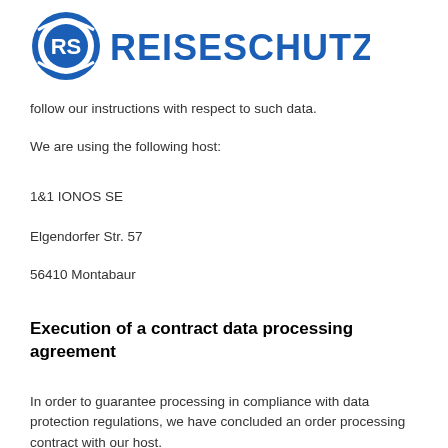[Figure (logo): RS Reiseschutz S.A. company logo — blue circular emblem with 'RS' letters on the left and bold blue text 'REISESCHUTZ S.A.' on the right]
follow our instructions with respect to such data.
We are using the following host:
1&1 IONOS SE
Elgendorfer Str. 57
56410 Montabaur
Execution of a contract data processing agreement
In order to guarantee processing in compliance with data protection regulations, we have concluded an order processing contract with our host.